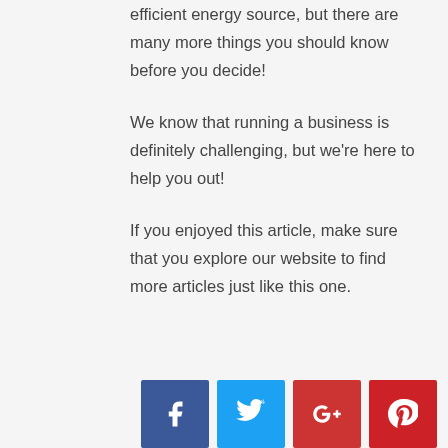efficient energy source, but there are many more things you should know before you decide!
We know that running a business is definitely challenging, but we're here to help you out!
If you enjoyed this article, make sure that you explore our website to find more articles just like this one.
[Figure (infographic): Social media share icons: Facebook (blue), Twitter (light blue), Google+ (red-brown), Pinterest (red)]